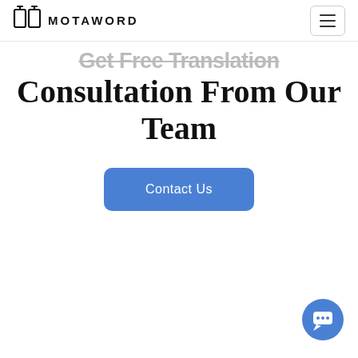MOTAWORD
Consultation From Our Team
Contact Us